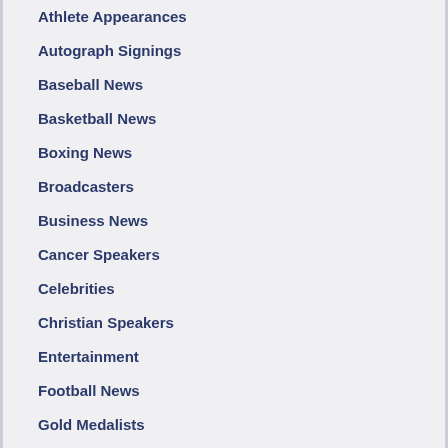Athlete Appearances
Autograph Signings
Baseball News
Basketball News
Boxing News
Broadcasters
Business News
Cancer Speakers
Celebrities
Christian Speakers
Entertainment
Football News
Gold Medalists
Golf News
Golf Speakers
Hockey News